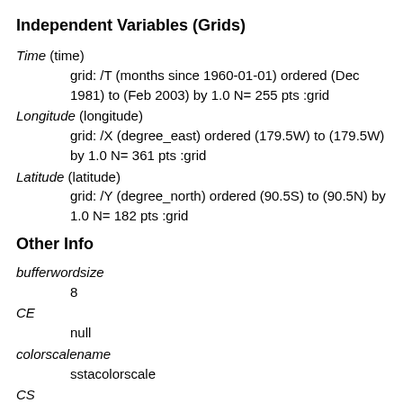Independent Variables (Grids)
Time (time)
    grid: /T (months since 1960-01-01) ordered (Dec 1981) to (Feb 2003) by 1.0 N= 255 pts :grid
Longitude (longitude)
    grid: /X (degree_east) ordered (179.5W) to (179.5W) by 1.0 N= 361 pts :grid
Latitude (latitude)
    grid: /Y (degree_north) ordered (90.5S) to (90.5N) by 1.0 N= 182 pts :grid
Other Info
bufferwordsize
    8
CE
    null
colorscalename
    sstacolorscale
CS
    null
datatype